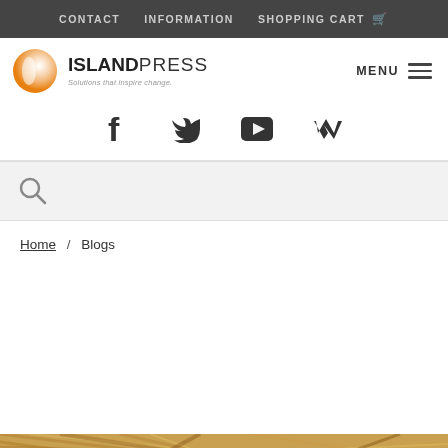CONTACT   INFORMATION   SHOPPING CART
[Figure (logo): Island Press logo with orange circle and text 'ISLANDPRESS Solutions that inspire change.']
[Figure (infographic): Social media icons row: Facebook, Twitter, YouTube, Medium]
[Figure (screenshot): Search bar with magnifying glass icon]
Home / Blogs
[Figure (photo): Animal fur texture image, partially visible]
WE USE COOKIES ON THIS SITE TO ENHANCE